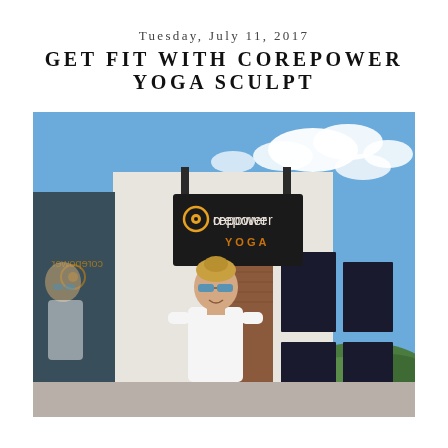Tuesday, July 11, 2017
GET FIT WITH COREPOWER YOGA SCULPT
[Figure (photo): Exterior of a CorePower Yoga studio with a dark sign reading 'corepower YOGA'. A woman with blonde hair, sunglasses, and a white tank top stands in front of the building. Blue sky with clouds in the background. A person is partially visible through a reflective glass door on the left.]